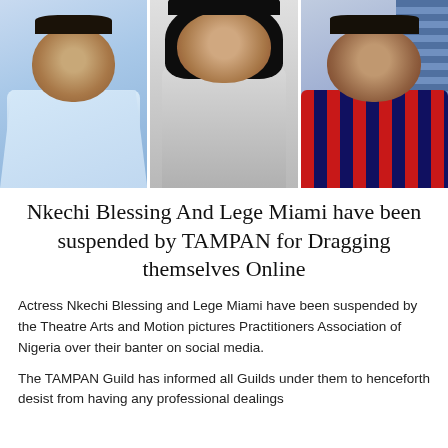[Figure (photo): Three-panel photo strip showing three Nigerian celebrities side by side: a man in a light blue traditional outfit on the left, a woman in a grey form-fitting dress in the middle, and a man in a red and blue striped shirt on the right.]
Nkechi Blessing And Lege Miami have been suspended by TAMPAN for Dragging themselves Online
Actress Nkechi Blessing and Lege Miami have been suspended by the Theatre Arts and Motion pictures Practitioners Association of Nigeria over their banter on social media.
The TAMPAN Guild has informed all Guilds under them to henceforth desist from having any professional dealings